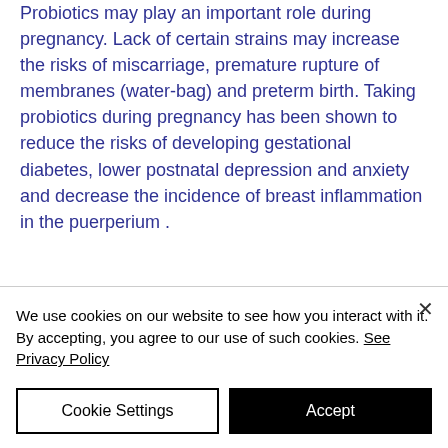Probiotics may play an important role during pregnancy. Lack of certain strains may increase the risks of miscarriage, premature rupture of membranes (water-bag) and preterm birth. Taking probiotics during pregnancy has been shown to reduce the risks of developing gestational diabetes, lower postnatal depression and anxiety and decrease the incidence of breast inflammation in the puerperium .
Until recently, organs of the upper
We use cookies on our website to see how you interact with it. By accepting, you agree to our use of such cookies. See Privacy Policy